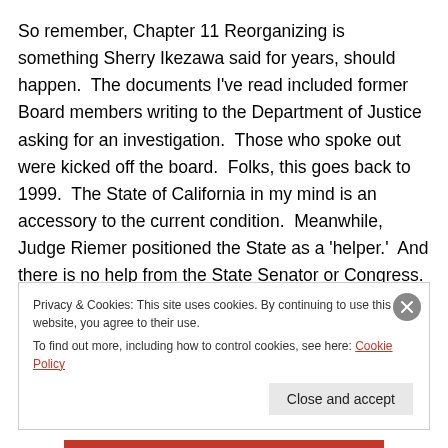So remember, Chapter 11 Reorganizing is something Sherry Ikezawa said for years, should happen.  The documents I've read included former Board members writing to the Department of Justice asking for an investigation.  Those who spoke out were kicked off the board.  Folks, this goes back to 1999.  The State of California in my mind is an accessory to the current condition.  Meanwhile, Judge Riemer positioned the State as a 'helper.'  And there is no help from the State Senator or Congress.  They're as cold as Republicans.  Maybe
Privacy & Cookies: This site uses cookies. By continuing to use this website, you agree to their use.
To find out more, including how to control cookies, see here: Cookie Policy